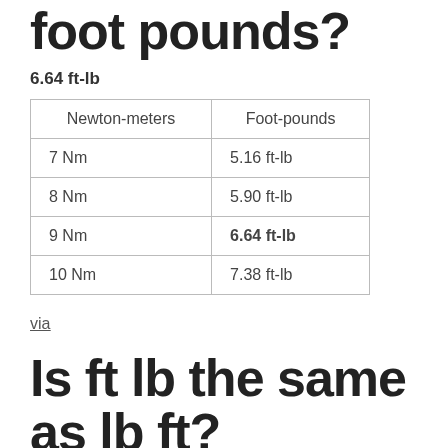foot pounds?
6.64 ft-lb
| Newton-meters | Foot-pounds |
| --- | --- |
| 7 Nm | 5.16 ft-lb |
| 8 Nm | 5.90 ft-lb |
| 9 Nm | 6.64 ft-lb |
| 10 Nm | 7.38 ft-lb |
via
Is ft lb the same as lb ft?